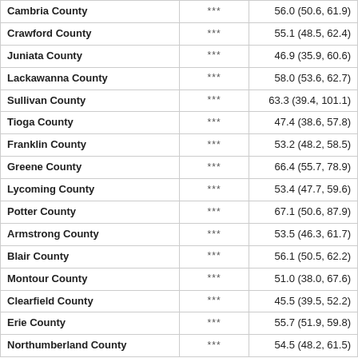| Cambria County | *** | 56.0 (50.6, 61.9) |
| Crawford County | *** | 55.1 (48.5, 62.4) |
| Juniata County | *** | 46.9 (35.9, 60.6) |
| Lackawanna County | *** | 58.0 (53.6, 62.7) |
| Sullivan County | *** | 63.3 (39.4, 101.1) |
| Tioga County | *** | 47.4 (38.6, 57.8) |
| Franklin County | *** | 53.2 (48.2, 58.5) |
| Greene County | *** | 66.4 (55.7, 78.9) |
| Lycoming County | *** | 53.4 (47.7, 59.6) |
| Potter County | *** | 67.1 (50.6, 87.9) |
| Armstrong County | *** | 53.5 (46.3, 61.7) |
| Blair County | *** | 56.1 (50.5, 62.2) |
| Montour County | *** | 51.0 (38.0, 67.6) |
| Clearfield County | *** | 45.5 (39.5, 52.2) |
| Erie County | *** | 55.7 (51.9, 59.8) |
| Northumberland County | *** | 54.5 (48.2, 61.5) |